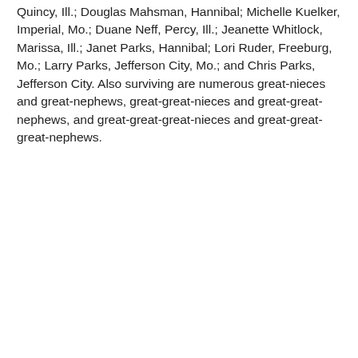Quincy, Ill.; Douglas Mahsman, Hannibal; Michelle Kuelker, Imperial, Mo.; Duane Neff, Percy, Ill.; Jeanette Whitlock, Marissa, Ill.; Janet Parks, Hannibal; Lori Ruder, Freeburg, Mo.; Larry Parks, Jefferson City, Mo.; and Chris Parks, Jefferson City. Also surviving are numerous great-nieces and great-nephews, great-great-nieces and great-great-nephews, and great-great-great-nieces and great-great-great-nephews.